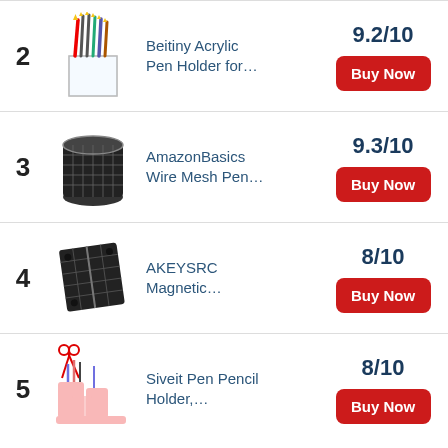2 – Beitiny Acrylic Pen Holder for… – 9.2/10 – Buy Now
3 – AmazonBasics Wire Mesh Pen… – 9.3/10 – Buy Now
4 – AKEYSRC Magnetic… – 8/10 – Buy Now
5 – Siveit Pen Pencil Holder,… – 8/10 – Buy Now